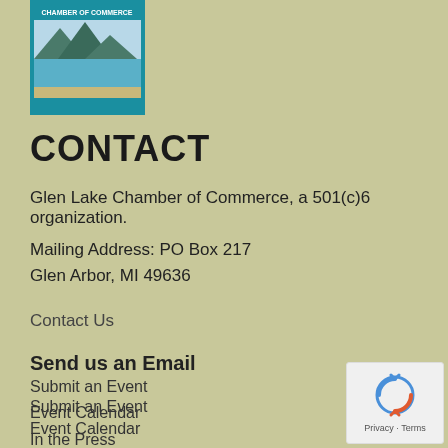[Figure (logo): Glen Lake Chamber of Commerce logo with landscape/lake scene and teal border]
CONTACT
Glen Lake Chamber of Commerce, a 501(c)6 organization.
Mailing Address: PO Box 217
Glen Arbor, MI 49636
Contact Us
Send us an Email
Submit an Event
Event Calendar
In the Press
[Figure (logo): Google reCAPTCHA badge with recycle-arrows icon and Privacy · Terms text]